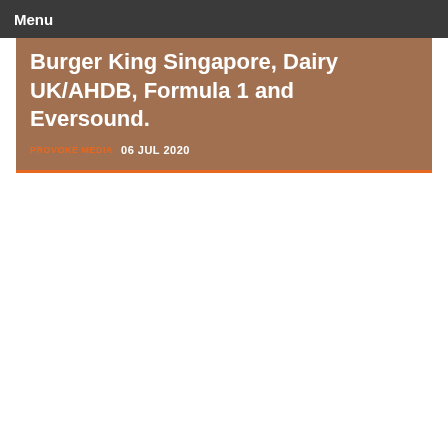Menu
Burger King Singapore, Dairy UK/AHDB, Formula 1 and Eversound.
PROVOKE MEDIA  06 JUL 2020